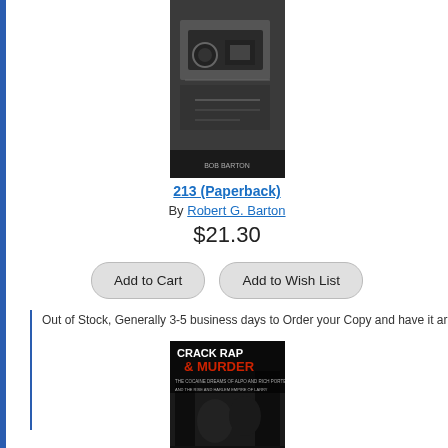[Figure (photo): Book cover of '213' by Bob Barton, dark grayscale image showing industrial/mechanical scene]
213 (Paperback)
By Robert G. Barton
$21.30
Add to Cart    Add to Wish List
Out of Stock, Generally 3-5 business days to Order your Copy and have it arrive at our store o
[Figure (photo): Book cover of 'Crack, Rap and Murder' by Seth Ferranti, dark urban scene with red text banner]
Crack, Rap and Murder: The Cocaine Dreams of Alpo and Rich Porter H
Fall from the Streets of Harlem (Paperback)